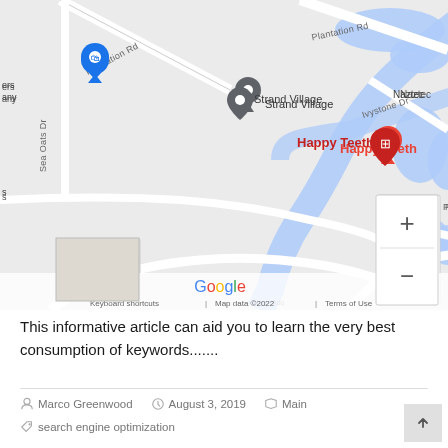[Figure (map): Google Maps screenshot showing Strand Village, Happy Teeth (highlighted in red with a marker), Magical Touch Massage, Ivystone Apartments, Ivystone Dr, Plantation Rd, Brookfield Dr, Sea Oats Dr, Naztec area. Blue water bodies visible. Zoom controls (+/-) in bottom right. Google logo and map attribution at bottom: Keyboard shortcuts, Map data ©2022, Terms of Use.]
This informative article can aid you to learn the very best consumption of keywords.......
Marco Greenwood   August 3, 2019   Main   search engine optimization